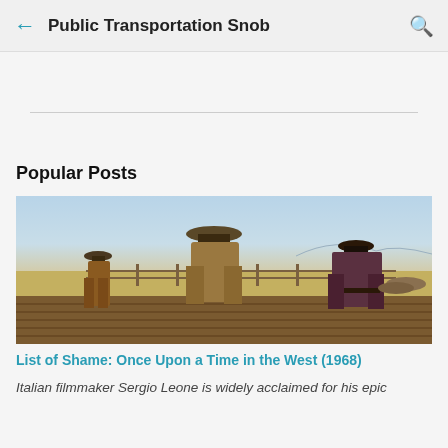Public Transportation Snob
Popular Posts
[Figure (photo): Three cowboys in hats and coats seen from behind facing a wide open Western landscape with wooden platform/dock, suggesting a showdown scene from a Western film.]
List of Shame: Once Upon a Time in the West (1968)
Italian filmmaker Sergio Leone is widely acclaimed for his epic